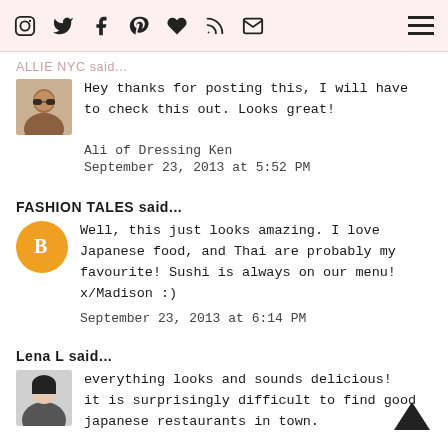Social media icons header
ALLIE NYC said...
Hey thanks for posting this, I will have to check this out. Looks great!
Ali of Dressing Ken
September 23, 2013 at 5:52 PM
FASHION TALES said...
Well, this just looks amazing. I love Japanese food, and Thai are probably my favourite! Sushi is always on our menu! x/Madison :)
September 23, 2013 at 6:14 PM
Lena L said...
everything looks and sounds delicious! it is surprisingly difficult to find good japanese restaurants in town.